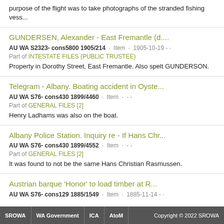purpose of the flight was to take photographs of the stranded fishing vess...
GUNDERSEN, Alexander - East Fremantle (d....
AU WA S2323- cons5800 1905/214 · Item · 1905-10-19 - ·
Part of INTESTATE FILES (PUBLIC TRUSTEE)
Property in Dorothy Street, East Fremantle. Also spelt GUNDERSON.
Telegram - Albany. Boating accident in Oyste...
AU WA S76- cons430 1899/4460 · Item · - -
Part of GENERAL FILES [2]
Henry Ladhams was also on the boat.
Albany Police Station. Inquiry re - If Hans Chr...
AU WA S76- cons430 1899/4552 · Item · - -
Part of GENERAL FILES [2]
It was found to not be the same Hans Christian Rasmussen.
Austrian barque 'Honor' to load timber at R...
AU WA S76- cons129 1885/1549 · Item · 1885-11-14 - ·
SROWA   WA Government   ICA   AtoM   Copyright © 2022 SROWA